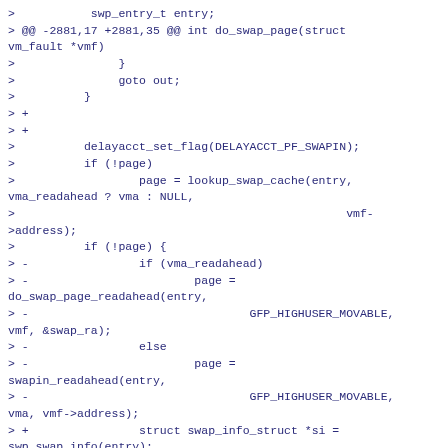>           swp_entry_t entry;
> @@ -2881,17 +2881,35 @@ int do_swap_page(struct vm_fault *vmf)
>               }
>               goto out;
>          }
> +
> +
>          delayacct_set_flag(DELAYACCT_PF_SWAPIN);
>          if (!page)
>                  page = lookup_swap_cache(entry, vma_readahead ? vma : NULL,
>                                                vmf->address);
>          if (!page) {
> -                if (vma_readahead)
> -                        page =
do_swap_page_readahead(entry,
> -                                GFP_HIGHUSER_MOVABLE,
vmf, &swap_ra);
> -                else
> -                        page =
swapin_readahead(entry,
> -                                GFP_HIGHUSER_MOVABLE,
vma, vmf->address);
> +                struct swap_info_struct *si =
swp_swap_info(entry);
> +
> +                if (!(si->flags &
SWP_SYNCHRONOUS_IO)) {